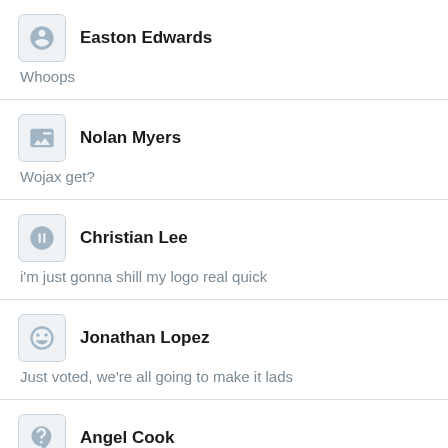Easton Edwards — Whoops
Nolan Myers — Wojax get?
Christian Lee — i'm just gonna shill my logo real quick
Jonathan Lopez — Just voted, we're all going to make it lads
Angel Cook